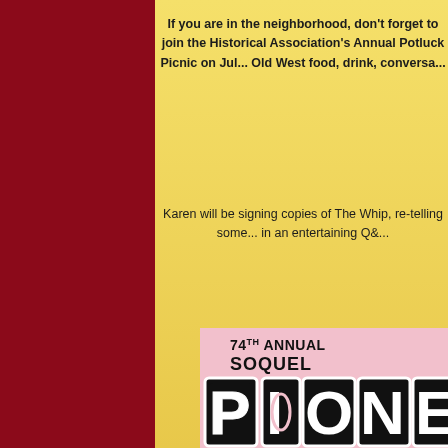If you are in the neighborhood, don't forget to join the Historical Association's Annual Potluck Picnic on Jul... Old West food, drink, conversa...
Karen will be signing copies of The Whip, re-telling some... in an entertaining Q&...
[Figure (illustration): 74th Annual Soquel Pioneer Picnic poster with large bold text on pink background]